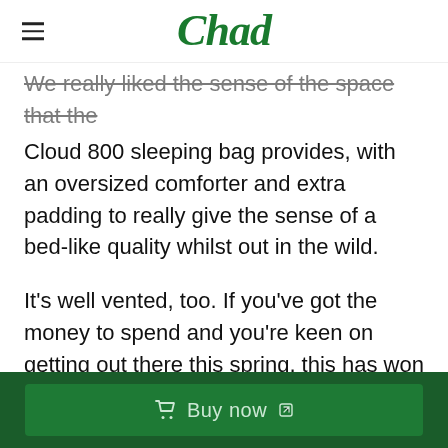Chad
We really liked the sense of the space that the Cloud 800 sleeping bag provides, with an oversized comforter and extra padding to really give the sense of a bed-like quality whilst out in the wild.
It's well vented, too. If you've got the money to spend and you're keen on getting out there this spring, this has won loads of awards, and we wouldn't hesitate to recommend it.
Buy now